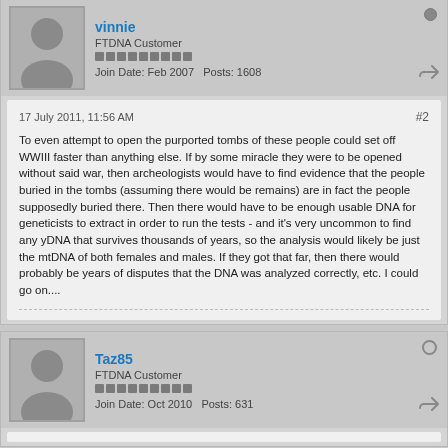vinnie
FTDNA Customer
Join Date: Feb 2007   Posts: 1608
17 July 2011, 11:56 AM
#2
To even attempt to open the purported tombs of these people could set off WWIII faster than anything else. If by some miracle they were to be opened without said war, then archeologists would have to find evidence that the people buried in the tombs (assuming there would be remains) are in fact the people supposedly buried there. Then there would have to be enough usable DNA for geneticists to extract in order to run the tests - and it's very uncommon to find any yDNA that survives thousands of years, so the analysis would likely be just the mtDNA of both females and males. If they got that far, then there would probably be years of disputes that the DNA was analyzed correctly, etc. I could go on....
Taz85
FTDNA Customer
Join Date: Oct 2010   Posts: 631